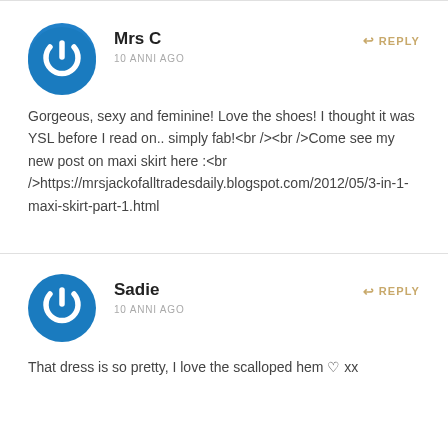[Figure (illustration): Blue circular power button / user avatar icon for Mrs C]
Mrs C
10 ANNI AGO
REPLY
Gorgeous, sexy and feminine! Love the shoes! I thought it was YSL before I read on.. simply fab!<br /><br />Come see my new post on maxi skirt here :<br />https://mrsjackofalltradesdaily.blogspot.com/2012/05/3-in-1-maxi-skirt-part-1.html
[Figure (illustration): Blue circular power button / user avatar icon for Sadie]
Sadie
10 ANNI AGO
REPLY
That dress is so pretty, I love the scalloped hem ♡ xx